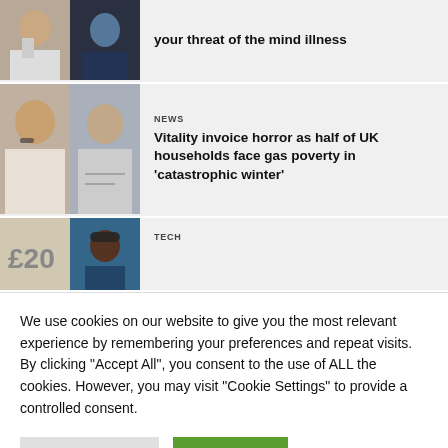[Figure (photo): Partial article row showing two thumbnail photos and partial headline about mind illness]
your threat of the mind illness
[Figure (photo): Two thumbnail photos: older man with glasses, man with hand near face]
NEWS
Vitality invoice horror as half of UK households face gas poverty in 'catastrophic winter'
[Figure (photo): Two thumbnail photos: £20 note, person with hat]
TECH
We use cookies on our website to give you the most relevant experience by remembering your preferences and repeat visits. By clicking "Accept All", you consent to the use of ALL the cookies. However, you may visit "Cookie Settings" to provide a controlled consent.